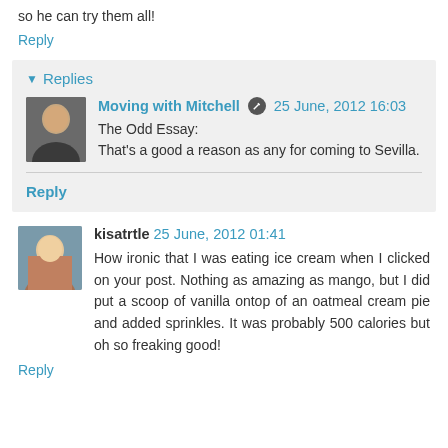so he can try them all!
Reply
▾ Replies
Moving with Mitchell  25 June, 2012 16:03
The Odd Essay:
That's a good a reason as any for coming to Sevilla.
Reply
kisatrtle  25 June, 2012 01:41
How ironic that I was eating ice cream when I clicked on your post. Nothing as amazing as mango, but I did put a scoop of vanilla ontop of an oatmeal cream pie and added sprinkles. It was probably 500 calories but oh so freaking good!
Reply